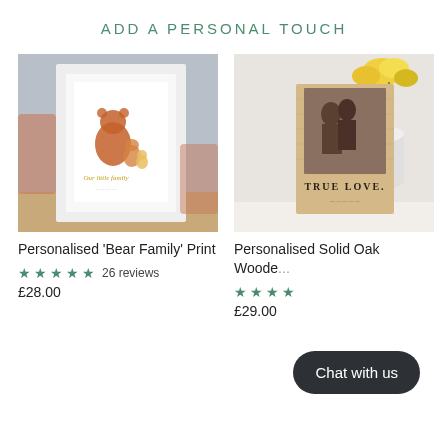ADD A PERSONAL TOUCH
[Figure (photo): Person holding a white-framed watercolour bear family print with text 'Our little family']
[Figure (photo): A personalised solid oak wooden photo block showing a couple kissing, with yellow tulips in background, text 'TRUE LOVE']
Personalised 'Bear Family' Print
Personalised Solid Oak Woode...
★★★★★ 26 reviews
★★★★
£28.00
£29.00
Chat with us